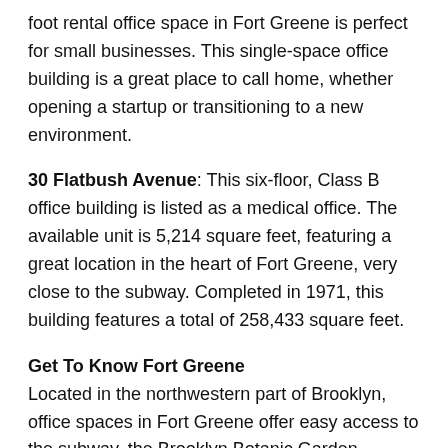foot rental office space in Fort Greene is perfect for small businesses. This single-space office building is a great place to call home, whether opening a startup or transitioning to a new environment.
30 Flatbush Avenue: This six-floor, Class B office building is listed as a medical office. The available unit is 5,214 square feet, featuring a great location in the heart of Fort Greene, very close to the subway. Completed in 1971, this building features a total of 258,433 square feet.
Get To Know Fort Greene
Located in the northwestern part of Brooklyn, office spaces in Fort Greene offer easy access to the subway, the Brooklyn Botanic Garden, Prospect Park, surrounding Brooklyn neighborhoods, and the Brooklyn Bridge. However, Fort Greene has plenty to do on its own, so venturing out is not always necessary. Fort Greene